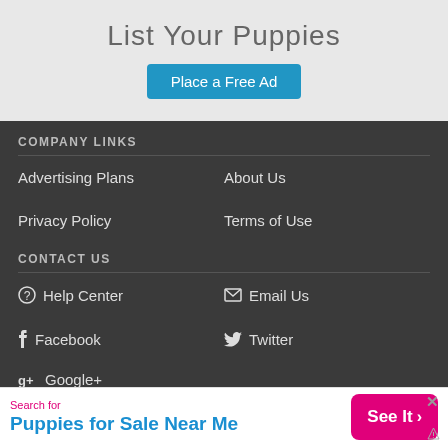List Your Puppies
Place a Free Ad
COMPANY LINKS
Advertising Plans
About Us
Privacy Policy
Terms of Use
CONTACT US
Help Center
Email Us
Facebook
Twitter
Google+
Search for
Puppies for Sale Near Me
See It >